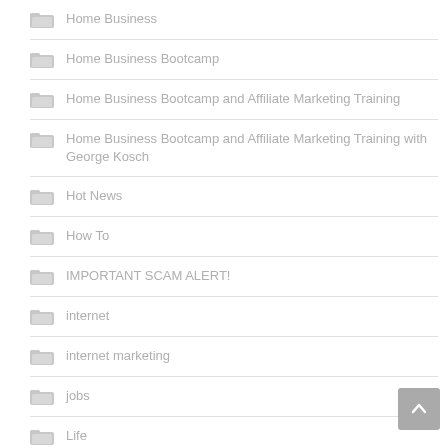Home Business
Home Business Bootcamp
Home Business Bootcamp and Affiliate Marketing Training
Home Business Bootcamp and Affiliate Marketing Training with George Kosch
Hot News
How To
IMPORTANT SCAM ALERT!
internet
internet marketing
jobs
Life